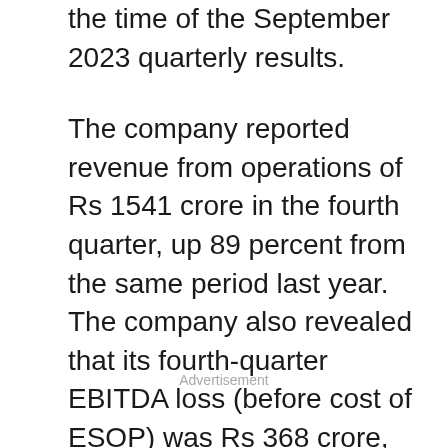the time of the September 2023 quarterly results.
The company reported revenue from operations of Rs 1541 crore in the fourth quarter, up 89 percent from the same period last year. The company also revealed that its fourth-quarter EBITDA loss (before cost of ESOP) was Rs 368 crore, up Rs 52 crore from the previous year's quarter. The company's EBITDA loss (excluding ESOP costs) for the entire financial year 2021-22 was Rs 1,518 crore, down 8% from the loss of Rs 1,655 crore in the previous financial year.
Advertisement